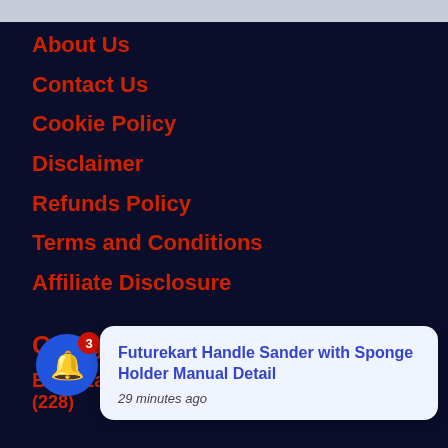About Us
Contact Us
Cookie Policy
Disclaimer
Refunds Policy
Terms and Conditions
Affiliate Disclosure
Categories
Best Earbuds (228)
Futurekart Handle Sander with Sponge Holder Manual Detail
29 minutes ago